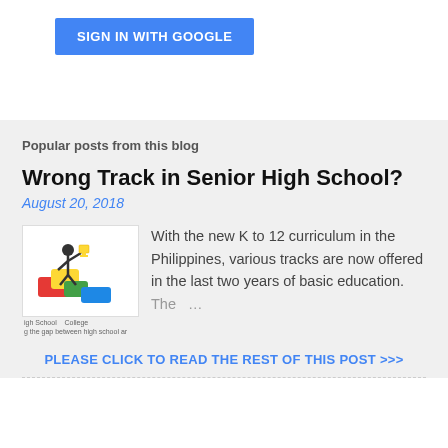[Figure (other): Sign in with Google button — blue rectangular button with white uppercase text]
Popular posts from this blog
Wrong Track in Senior High School?
August 20, 2018
[Figure (logo): Illustration of a figure climbing/jumping on colorful puzzle pieces, with text referencing bridging the gap between high school and college]
With the new K to 12 curriculum in the Philippines, various tracks are now offered in the last two years of basic education. The …
PLEASE CLICK TO READ THE REST OF THIS POST >>>